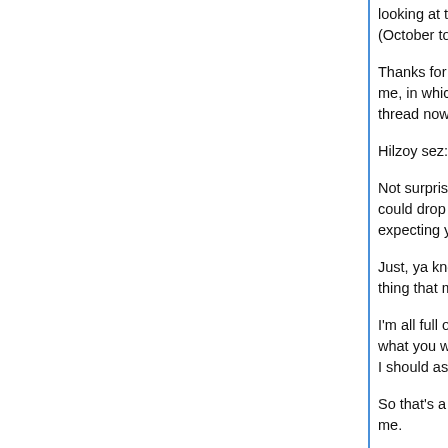looking at the date, I realize I was in the depths o (October to mid-January, most of all), so no wond
Thanks for pointing out a good thing I missed, sin me, in which I said little, and missed much stuff. I' thread now.
Hilzoy sez: "Gary: no idea which episode it was."
Not surprised. Wishing we were sitcom neighbors could drop by with an hour or two to watch and try expecting you to go very far to indulge my urgings
Just, ya know, sort of earnestly wishing. The sort thing that might be wrong.
I'm all full of awkwardness as to being clueless as what you want to talk about regarding life, here, a I should ask what state you've bought a house in,
So that's a kind of asking, in a way you should ign me.
(Can't help recall the recent visiting moron who w Real! Name! Oh! No!, and not wanting to get anyw y'know?)